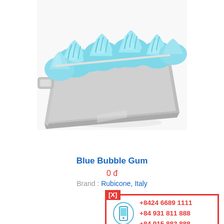[Figure (photo): Blue bubble gum gelato in a stainless steel tray, with swirled blue ice cream mounds, white background]
Blue Bubble Gum
0 đ
Brand : Rubicone, Italy
[X]
+8424 6689 1111
+84 931 811 888
+84 915 883 888